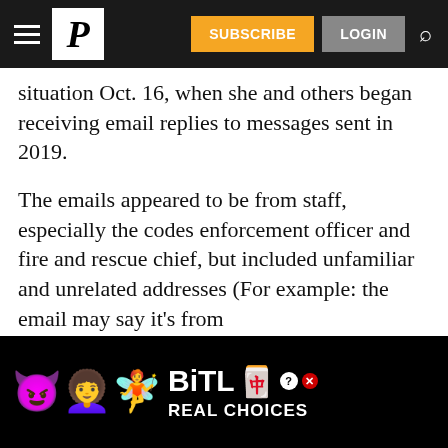P | SUBSCRIBE | LOGIN
situation Oct. 16, when she and others began receiving email replies to messages sent in 2019.
The emails appeared to be from staff, especially the codes enforcement officer and fire and rescue chief, but included unfamiliar and unrelated addresses (For example: the email may say it's from codes@durhamme.com, but next to the sender is an address like
[Figure (infographic): BitLife Real Choices advertisement banner with emoji characters (devil, angel, winking face with wings, and sperm emoji) on black background]